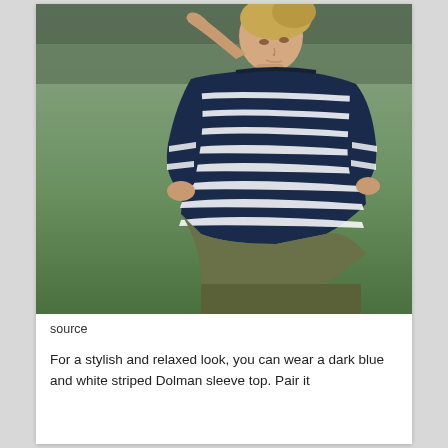[Figure (photo): A young blonde woman wearing a navy blue and white horizontal striped Dolman sleeve top, posing outdoors on a green lawn, looking down with one hand behind her head and the other in her pocket. She is also wearing olive/khaki pants.]
source
For a stylish and relaxed look, you can wear a dark blue and white striped Dolman sleeve top. Pair it